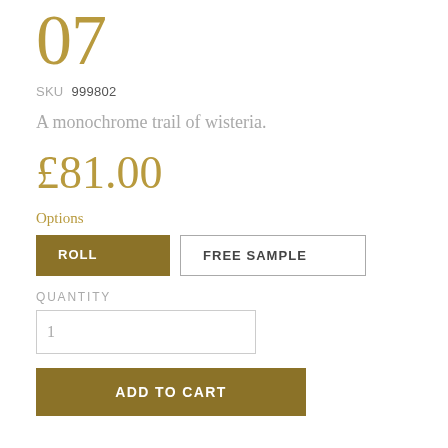07
SKU 999802
A monochrome trail of wisteria.
£81.00
Options
ROLL   FREE SAMPLE
QUANTITY
1
ADD TO CART